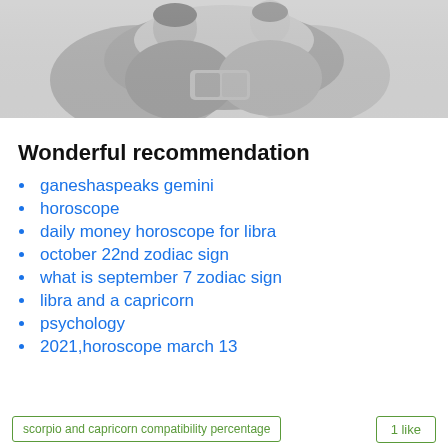[Figure (photo): Black and white photo of a couple reading together, sitting close, one person holding a book or phone]
Wonderful recommendation
ganeshaspeaks gemini
horoscope
daily money horoscope for libra
october 22nd zodiac sign
what is september 7 zodiac sign
libra and a capricorn
psychology
2021,horoscope march 13
scorpio and capricorn compatibility percentage    1 like